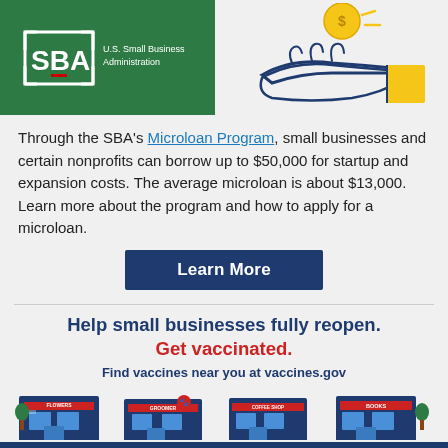[Figure (logo): SBA U.S. Small Business Administration logo on green background]
[Figure (illustration): Hand receiving a gold coin with dollar sign — microloan illustration]
Through the SBA's Microloan Program, small businesses and certain nonprofits can borrow up to $50,000 for startup and expansion costs. The average microloan is about $13,000. Learn more about the program and how to apply for a microloan.
[Figure (infographic): Learn More button — dark navy blue rectangular button]
Help small businesses fully reopen. Get vaccinated. Find vaccines near you at vaccines.gov
[Figure (illustration): Four illustrated storefronts: Flowers, Groomer, Coffee Shop, Books — small business facades]